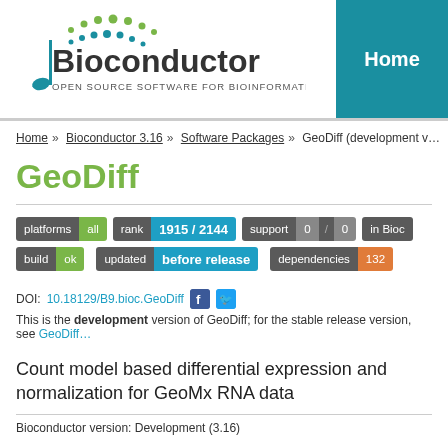[Figure (logo): Bioconductor logo — musical note with DNA dot chain, text 'Bioconductor OPEN SOURCE SOFTWARE FOR BIOINFORMATICS']
Home
Home » Bioconductor 3.16 » Software Packages » GeoDiff (development v…)
GeoDiff
platforms all  rank 1915 / 2144  support 0 / 0  in Bioc…  build ok  updated before release  dependencies 132
DOI: 10.18129/B9.bioc.GeoDiff
This is the development version of GeoDiff; for the stable release version, see GeoDiff…
Count model based differential expression and normalization for GeoMx RNA data
Bioconductor version: Development (3.16)